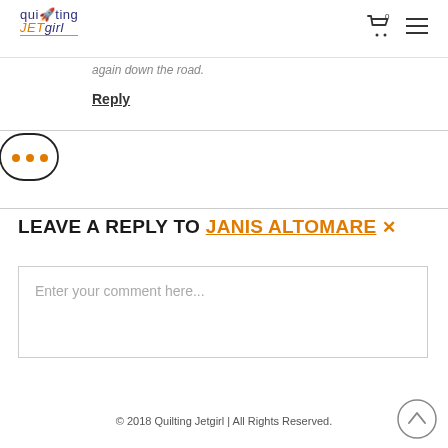quilting JETgirl
again down the road.
Reply
[Figure (other): Ellipsis speech bubble with three orange dots, partially cropped on left edge]
LEAVE A REPLY TO JANIS ALTOMARE ×
Enter your comment here...
© 2018 Quilting Jetgirl | All Rights Reserved.